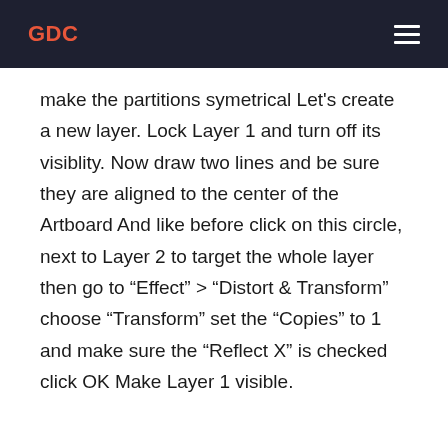GDC
make the partitions symetrical Let’s create a new layer. Lock Layer 1 and turn off its visiblity. Now draw two lines and be sure they are aligned to the center of the Artboard And like before click on this circle, next to Layer 2 to target the whole layer then go to “Effect” > “Distort & Transform” choose “Transform” set the “Copies” to 1 and make sure the “Reflect X” is checked click OK Make Layer 1 visible.